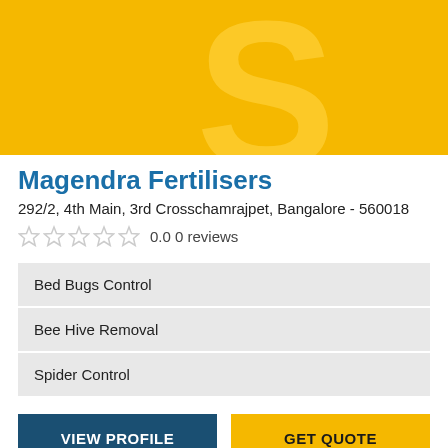[Figure (logo): Yellow/golden banner with large semi-transparent letter S watermark]
Magendra Fertilisers
292/2, 4th Main, 3rd Crosschamrajpet, Bangalore - 560018
0.0 0 reviews
Bed Bugs Control
Bee Hive Removal
Spider Control
VIEW PROFILE   GET QUOTE